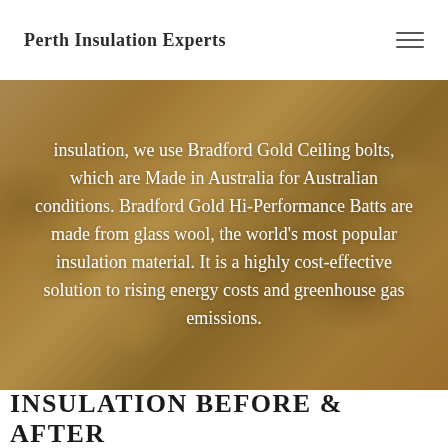Perth Insulation Experts
[Figure (photo): Background image of golden/tan insulation batts material, warm amber tones, showing insulation wool texture]
insulation, we use Bradford Gold Ceiling bolts, which are Made in Australia for Australian conditions. Bradford Gold Hi-Performance Batts are made from glass wool, the world's most popular insulation material. It is a highly cost-effective solution to rising energy costs and greenhouse gas emissions.
INSULATION BEFORE & AFTER